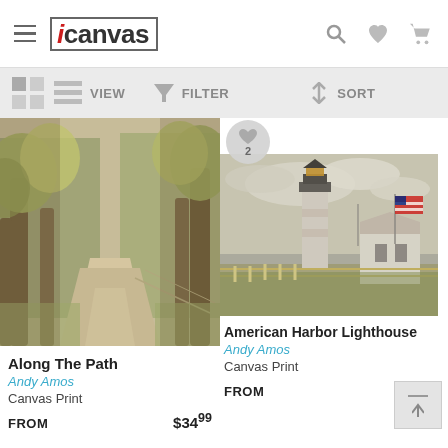iCanvas
[Figure (screenshot): iCanvas app header with hamburger menu, iCanvas logo, search icon, heart icon, and cart icon]
[Figure (infographic): Toolbar with View, Filter, and Sort options]
[Figure (photo): Canvas art photo: Along The Path - a tree-lined country road in autumn tones]
Along The Path
Andy Amos
Canvas Print
FROM  $34.99
[Figure (photo): Canvas art photo: American Harbor Lighthouse - white lighthouse with American flag and buildings]
American Harbor Lighthouse
Andy Amos
Canvas Print
FROM  $34.99